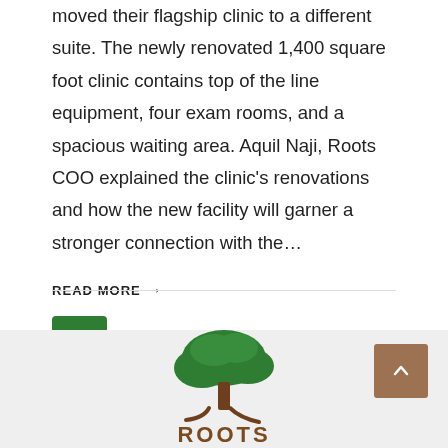moved their flagship clinic to a different suite. The newly renovated 1,400 square foot clinic contains top of the line equipment, four exam rooms, and a spacious waiting area. Aquil Naji, Roots COO explained the clinic's renovations and how the new facility will garner a stronger connection with the...
READ MORE →
1 2 >
[Figure (logo): Roots Community Health Center logo with a green tree illustration above the word ROOTS in brown letters]